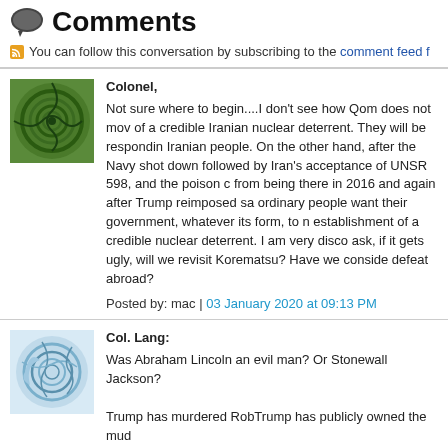Comments
You can follow this conversation by subscribing to the comment feed f
Colonel,

Not sure where to begin....I don't see how Qom does not mov of a credible Iranian nuclear deterrent. They will be respondin Iranian people. On the other hand, after the Navy shot down followed by Iran's acceptance of UNSR 598, and the poison c from being there in 2016 and again after Trump reimposed sa ordinary people want their government, whatever its form, to n establishment of a credible nuclear deterrent. I am very disco ask, if it gets ugly, will we revisit Korematsu? Have we conside defeat abroad?

Posted by: mac | 03 January 2020 at 09:13 PM
Col. Lang:

Was Abraham Lincoln an evil man? Or Stonewall Jackson?

Trump has murdered RobTrump has publicly owned the mud